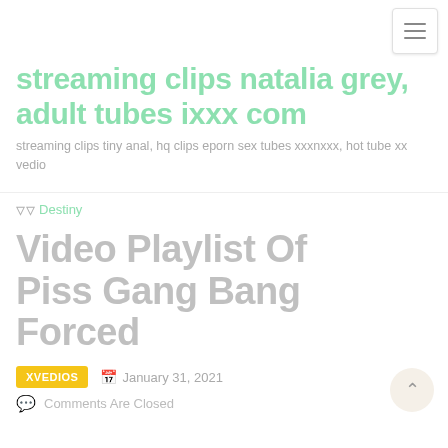streaming clips natalia grey, adult tubes ixxx com
streaming clips tiny anal, hq clips eporn sex tubes xxxnxxx, hot tube xx vedio
Destiny
Video Playlist Of Piss Gang Bang Forced
XVEDIOS  January 31, 2021
Comments Are Closed